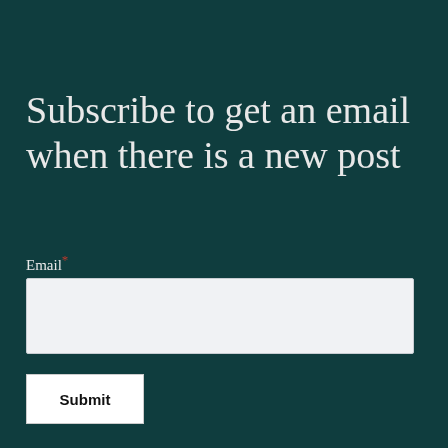Subscribe to get an email when there is a new post
Email*
Submit